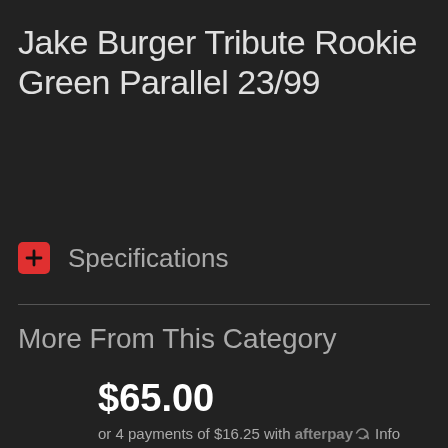Jake Burger Tribute Rookie Green Parallel 23/99
Specifications
More From This Category
$65.00
or 4 payments of $16.25 with afterpay Info